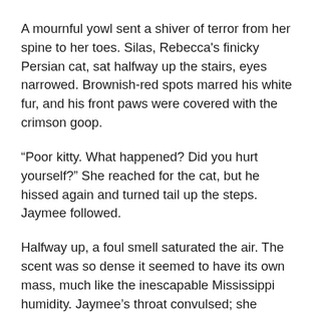A mournful yowl sent a shiver of terror from her spine to her toes. Silas, Rebecca's finicky Persian cat, sat halfway up the stairs, eyes narrowed. Brownish-red spots marred his white fur, and his front paws were covered with the crimson goop.
“Poor kitty. What happened? Did you hurt yourself?” She reached for the cat, but he hissed again and turned tail up the steps. Jaymee followed.
Halfway up, a foul smell saturated the air. The scent was so dense it seemed to have its own mass, much like the inescapable Mississippi humidity. Jaymee’s throat convulsed; she covered her nose and breathed through her mouth. The smell intensified with every step, taking on the odor of rotting sewage. Silas’s bloody paw prints